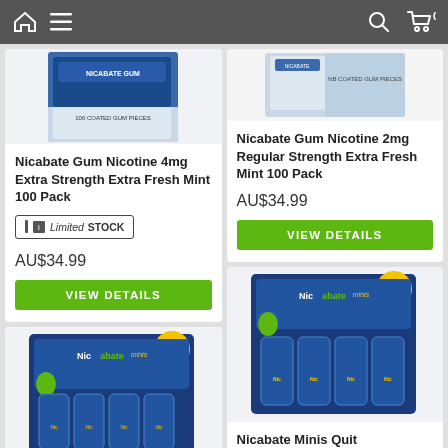Navigation bar with home, menu, search, and cart icons
[Figure (photo): Nicabate Gum Nicotine 4mg Extra Strength Extra Fresh Mint 100 Pack product image]
Nicabate Gum Nicotine 4mg Extra Strength Extra Fresh Mint 100 Pack
Limited STOCK
AU$34.99
VIEW DETAILS
[Figure (photo): Nicabate Gum Nicotine 2mg Regular Strength Extra Fresh Mint 100 Pack product image]
Nicabate Gum Nicotine 2mg Regular Strength Extra Fresh Mint 100 Pack
AU$34.99
VIEW DETAILS
[Figure (photo): Nicabate Minis product image (left column, partial)]
[Figure (photo): Nicabate Minis Quit product image (right column)]
Nicabate Minis Quit